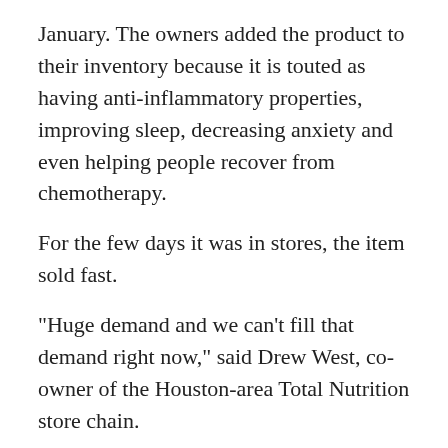January. The owners added the product to their inventory because it is touted as having anti-inflammatory properties, improving sleep, decreasing anxiety and even helping people recover from chemotherapy.
For the few days it was in stores, the item sold fast.
“Huge demand and we can’t fill that demand right now,” said Drew West, co-owner of the Houston-area Total Nutrition store chain.
West said the product flew off the shelves for twelve days, that is until a police officer happened to shop at one of the store locations and shared a word of advice.
‘‘Hey guys, I would advise against that,’’’ said West, recalling what the officer told him. ‘‘‘I’m a local police